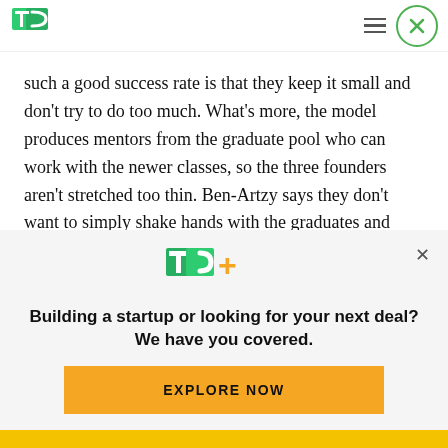TechCrunch header with TC logo, hamburger menu, and close button
such a good success rate is that they keep it small and don't try to do too much. What's more, the model produces mentors from the graduate pool who can work with the newer classes, so the three founders aren't stretched too thin. Ben-Artzy says they don't want to simply shake hands with the graduates and leave them on their own. They want
[Figure (logo): TechCrunch TC+ logo in green and yellow]
Building a startup or looking for your next deal? We have you covered.
EXPLORE NOW